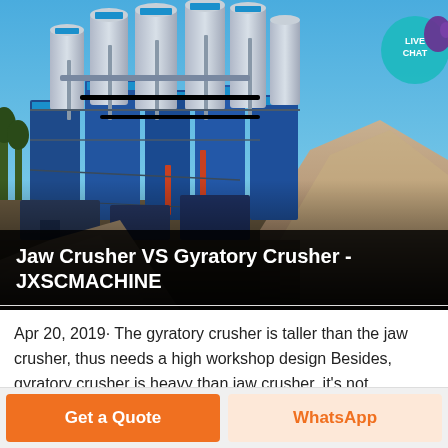[Figure (photo): Industrial crushing/grinding plant with blue metal silos, conveyors, pipes and machinery under a clear blue sky, with a large aggregate gravel pile in the foreground.]
Jaw Crusher VS Gyratory Crusher - JXSCMACHINE
Apr 20, 2019· The gyratory crusher is taller than the jaw crusher, thus needs a high workshop design Besides, gyratory crusher is heavy than jaw crusher, it's not
Get a Quote
WhatsApp